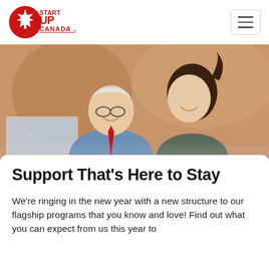[Figure (logo): Startup Canada logo: red circle with maple leaf and text START UP CANADA with trademark symbol]
[Figure (photo): An elderly man wearing glasses and a red tie sitting beside a younger woman with a ponytail, both smiling and looking at a laptop screen together]
Support That's Here to Stay
We're ringing in the new year with a new structure to our flagship programs that you know and love! Find out what you can expect from us this year to